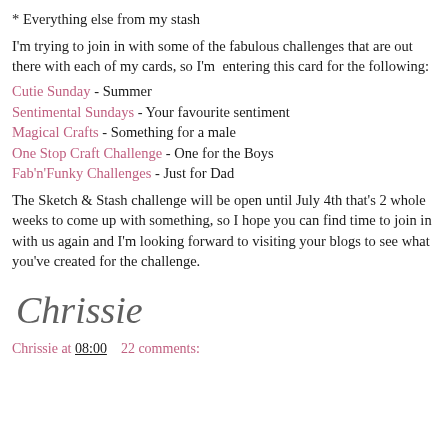* Everything else from my stash
I'm trying to join in with some of the fabulous challenges that are out there with each of my cards, so I'm  entering this card for the following:
Cutie Sunday - Summer
Sentimental Sundays - Your favourite sentiment
Magical Crafts - Something for a male
One Stop Craft Challenge - One for the Boys
Fab'n'Funky Challenges - Just for Dad
The Sketch & Stash challenge will be open until July 4th that's 2 whole weeks to come up with something, so I hope you can find time to join in with us again and I'm looking forward to visiting your blogs to see what you've created for the challenge.
[Figure (illustration): Cursive handwritten signature reading 'Chrissie']
Chrissie at 08:00    22 comments: